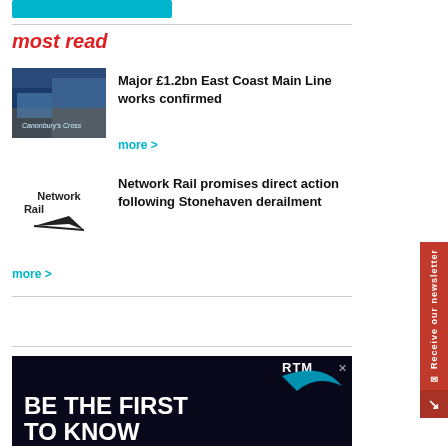most read
[Figure (photo): Thumbnail photo of a train station, blue tones]
Major £1.2bn East Coast Main Line works confirmed
more >
[Figure (logo): Network Rail logo with diagonal arrow mark]
Network Rail promises direct action following Stonehaven derailment
more >
[Figure (screenshot): Advertisement banner: RTM logo with swoosh, text BE THE FIRST TO KNOW on dark background]